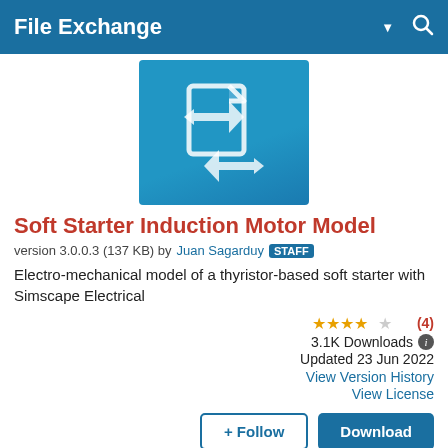File Exchange
[Figure (logo): File Exchange icon: two document pages with bidirectional arrows on a blue gradient background]
Soft Starter Induction Motor Model
version 3.0.0.3 (137 KB) by Juan Sagarduy STAFF
Electro-mechanical model of a thyristor-based soft starter with Simscape Electrical
★★★★☆ (4)
3.1K Downloads
Updated 23 Jun 2022
View Version History
View License
+ Follow   Download
Overview   Models   Reviews (4)